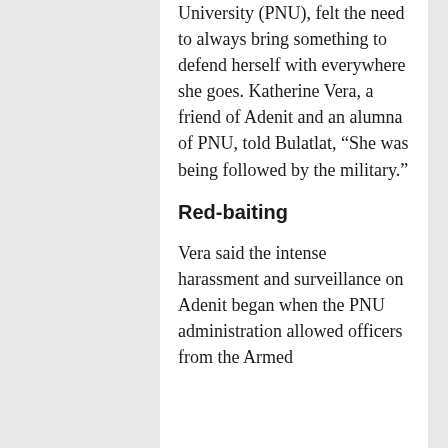University (PNU), felt the need to always bring something to defend herself with everywhere she goes. Katherine Vera, a friend of Adenit and an alumna of PNU, told Bulatlat, “She was being followed by the military.”
Red-baiting
Vera said the intense harassment and surveillance on Adenit began when the PNU administration allowed officers from the Armed